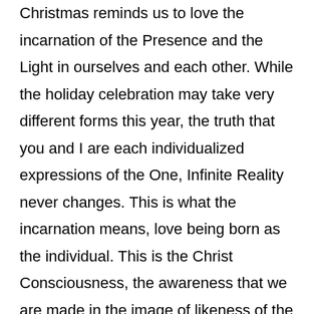Christmas reminds us to love the incarnation of the Presence and the Light in ourselves and each other. While the holiday celebration may take very different forms this year, the truth that you and I are each individualized expressions of the One, Infinite Reality never changes. This is what the incarnation means, love being born as the individual. This is the Christ Consciousness, the awareness that we are made in the image of likeness of the Divine and that when our truth shines through as the light and love we are, then we are a place where Spirit is showing up in the world, as us!